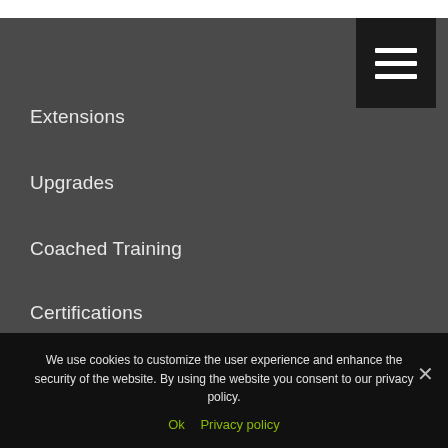[Figure (other): Hamburger menu button (three white horizontal lines on black background)]
Extensions
Upgrades
Coached Training
Certifications
SUPPORT
We use cookies to customize the user experience and enhance the security of the website. By using the website you consent to our privacy policy.
Ok   Privacy policy